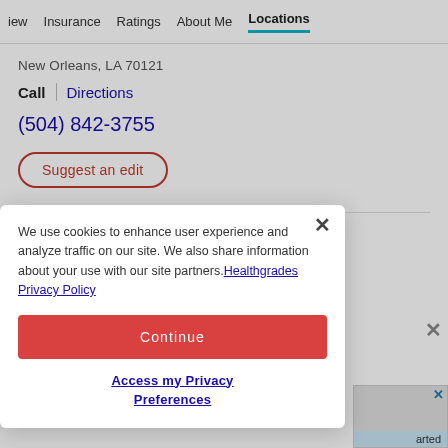iew  Insurance  Ratings  About Me  Locations
New Orleans, LA 70121
Call  Directions
(504) 842-3755
Suggest an edit
Ochsner Clinic
We use cookies to enhance user experience and analyze traffic on our site. We also share information about your use with our site partners. Healthgrades Privacy Policy
Continue
Access my Privacy Preferences